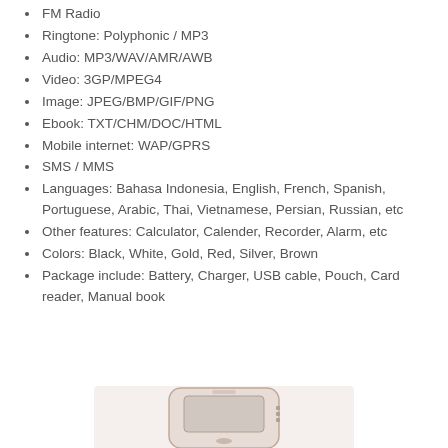FM Radio
Ringtone: Polyphonic / MP3
Audio: MP3/WAV/AMR/AWB
Video: 3GP/MPEG4
Image: JPEG/BMP/GIF/PNG
Ebook: TXT/CHM/DOC/HTML
Mobile internet: WAP/GPRS
SMS / MMS
Languages: Bahasa Indonesia, English, French, Spanish, Portuguese, Arabic, Thai, Vietnamese, Persian, Russian, etc
Other features: Calculator, Calender, Recorder, Alarm, etc
Colors: Black, White, Gold, Red, Silver, Brown
Package include: Battery, Charger, USB cable, Pouch, Card reader, Manual book
[Figure (photo): Photo of a mobile phone device, partially visible at the bottom of the page]